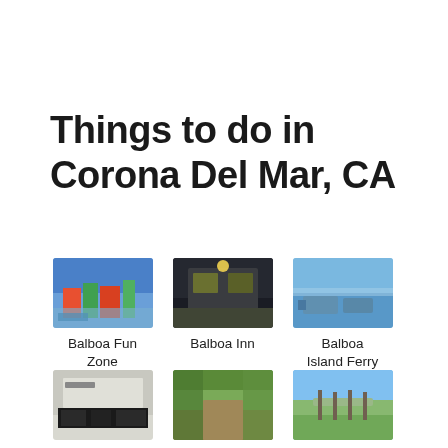Things to do in Corona Del Mar, CA
[Figure (photo): Balboa Fun Zone - aerial/crowd view of a colorful waterfront amusement area]
Balboa Fun Zone
[Figure (photo): Balboa Inn - nighttime view of the inn exterior]
Balboa Inn
[Figure (photo): Balboa Island Ferry - boats and water view]
Balboa Island Ferry
[Figure (photo): Balboa Island Museum - exterior with dark awning]
Balboa Island Museum
[Figure (photo): Buck Gully Reserve - trail through green vegetation]
Buck Gully Reserve
[Figure (photo): Castaways Park - boardwalk with water and blue sky]
Castaways Park